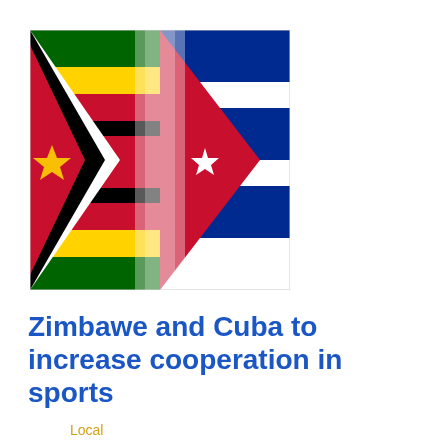[Figure (illustration): Composite image of Zimbabwe and Cuba flags overlapping/blended together side by side]
Zimbawe and Cuba to increase cooperation in sports
Local